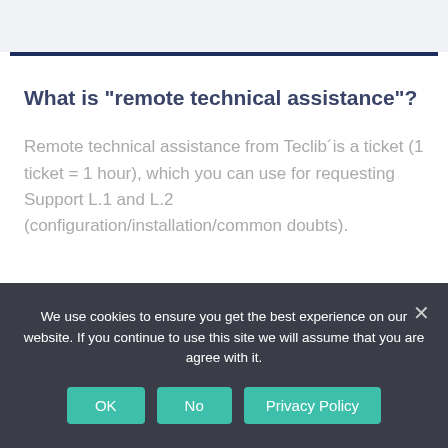What is "remote technical assistance"?
Remote technical assistance from Teclib´is a ticket (1 ticket = 1 hour), which you can use for requesting Support L.1 and L.2 (configuration/installation/common doubts).
We use cookies to ensure you get the best experience on our website. If you continue to use this site we will assume that you are agree with it.
OK   No   Privacy Policy